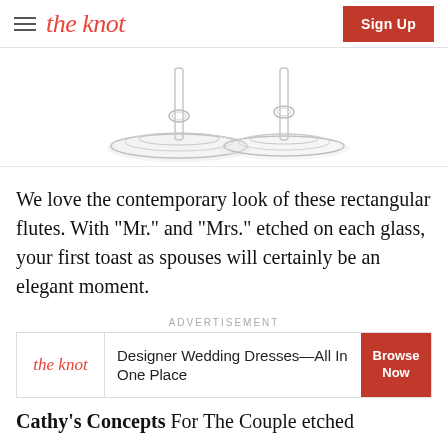the knot  Sign Up
[Figure (photo): Two champagne flute glasses showing the bases/stems on a white background]
We love the contemporary look of these rectangular flutes. With "Mr." and "Mrs." etched on each glass, your first toast as spouses will certainly be an elegant moment.
ADVERTISEMENT
[Figure (screenshot): The Knot advertisement banner: 'Designer Wedding Dresses—All In One Place' with Browse Now button]
Cathy's Concepts For The Couple etched